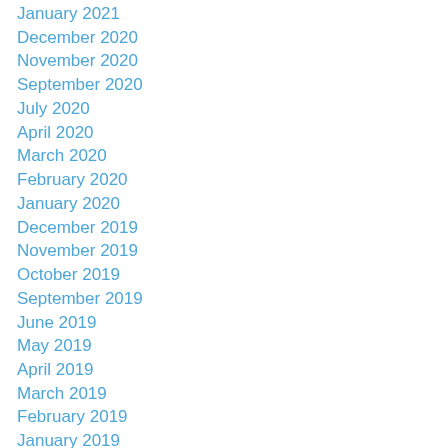January 2021
December 2020
November 2020
September 2020
July 2020
April 2020
March 2020
February 2020
January 2020
December 2019
November 2019
October 2019
September 2019
June 2019
May 2019
April 2019
March 2019
February 2019
January 2019
December 2018